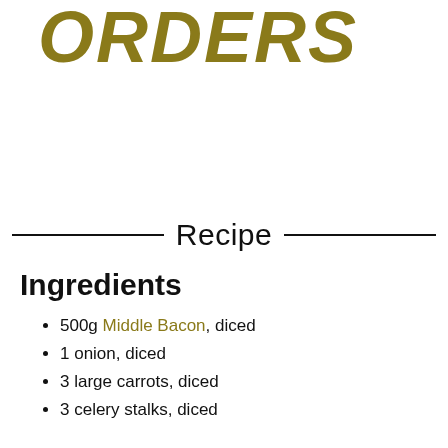ORDERS
Recipe
Ingredients
500g Middle Bacon, diced
1 onion, diced
3 large carrots, diced
3 celery stalks, diced